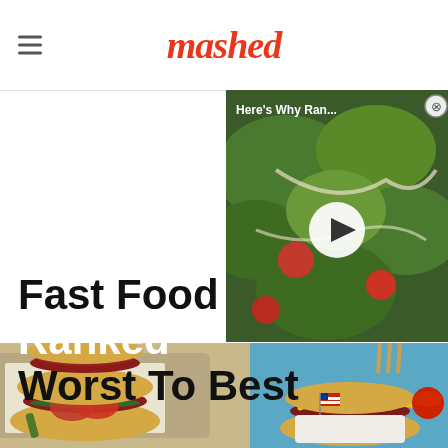mashed
[Figure (screenshot): Video overlay thumbnail showing a salad with tomatoes, with text 'Here's Why Ran...' and a play button]
Fast Food Hot D... Worst To Best
[Figure (photo): Photo of fast food hot dogs on trays - Chicago-style hot dog with tomatoes and pickles on the left, and hot dogs with mustard on a blue background on the right]